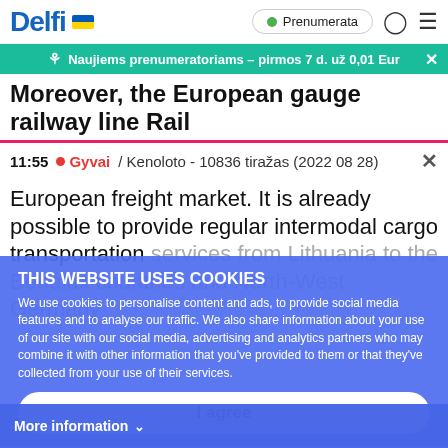Delfi | Prenumerata
Naujiems prenumeratoriams – pirmos 7 d. už 0,01 Eur
Moreover, the European gauge railway line Rail
11:55  Gyvai / Kenoloto - 10836 tiražas (2022 08 28)
European freight market. It is already possible to provide regular intermodal cargo transportation services from Lithuania to the Benelux countries and North-West Germany.
THIS WEBSITE USES COOKIES
We use cookies to personalise content and ads, to provide social media features and to analyse our traffic. We also share information about your use of our site with our social media, advertising and analytics partners who may combine it with other information that you've provided to them or that they've collected from your use of their services.
I agree
More information